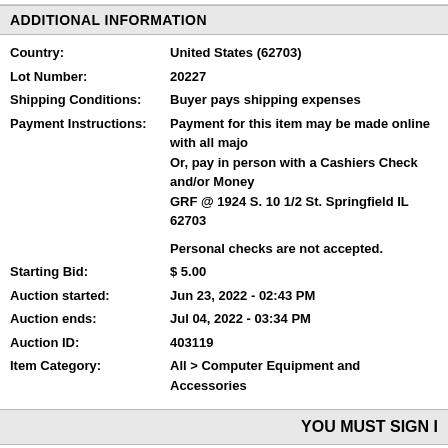ADDITIONAL INFORMATION
Country:   United States (62703)
Lot Number:   20227
Shipping Conditions:   Buyer pays shipping expenses
Payment Instructions:   Payment for this item may be made online with all major credit cards. Or, pay in person with a Cashiers Check and/or Money Order at GRF @ 1924 S. 10 1/2 St. Springfield IL 62703

Personal checks are not accepted.
Starting Bid:   $ 5.00
Auction started:   Jun 23, 2022 - 02:43 PM
Auction ends:   Jul 04, 2022 - 03:34 PM
Auction ID:   403119
Item Category:   All > Computer Equipment and Accessories
YOU MUST SIGN I
Contact | Help | About Us | Shippi...
Powered by AssetWorks ...
10.0...